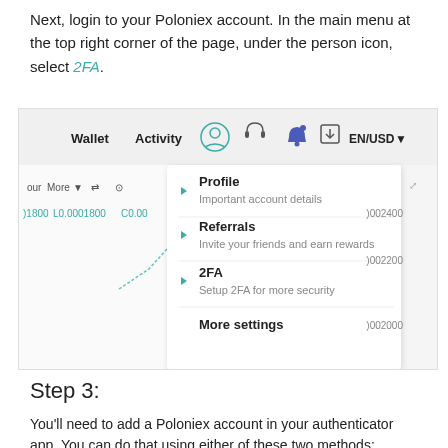Next, login to your Poloniex account. In the main menu at the top right corner of the page, under the person icon, select 2FA.
[Figure (screenshot): Screenshot of Poloniex interface showing the top navigation bar with Wallet, Activity, and icons for user, headset, notifications, download, and EN/USD dropdown. A dropdown menu is open showing Profile (Important account details), Referrals (Invite your friends and earn rewards), 2FA (Setup 2FA for more security), and More settings. Behind the dropdown, a trading chart is partially visible with values like 0.0001800, L0.0001800, C0.00, and numbers like 002400, 002200, 002000 on the right.]
Step 3:
You'll need to add a Poloniex account in your authenticator app. You can do that using either of these two methods: